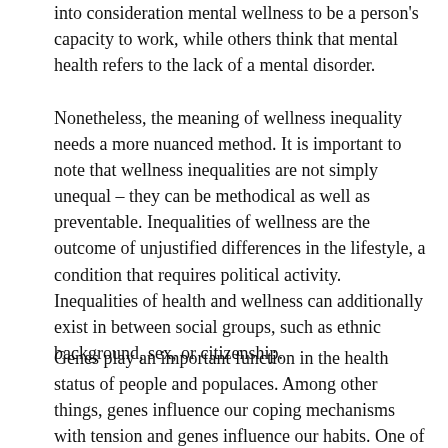into consideration mental wellness to be a person's capacity to work, while others think that mental health refers to the lack of a mental disorder.
Nonetheless, the meaning of wellness inequality needs a more nuanced method. It is important to note that wellness inequalities are not simply unequal – they can be methodical as well as preventable. Inequalities of wellness are the outcome of unjustified differences in the lifestyle, a condition that requires political activity. Inequalities of health and wellness can additionally exist in between social groups, such as ethnic background, sex, or citizenship.
Genes play an important function in the health status of people and populaces. Among other things, genes influence our coping mechanisms with tension and genes influence our habits. One of the